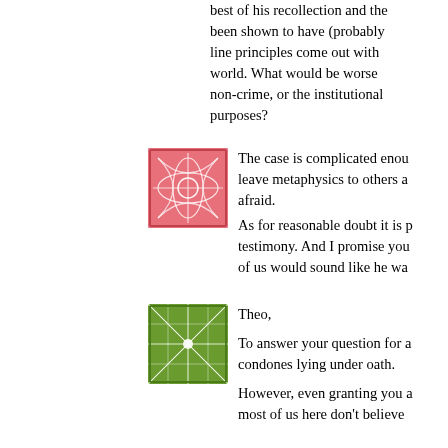best of his recollection and the testimony has been shown to have (probably) line principles come out with world. What would be worse non-crime, or the institutional purposes?
[Figure (illustration): Pink/red square avatar with abstract white line pattern resembling tangled curves]
The case is complicated enough to leave metaphysics to others and I am afraid.
As for reasonable doubt it is related to testimony. And I promise you of us would sound like he wa...
[Figure (illustration): Green square avatar with white geometric grid/star pattern]
Theo,

To answer your question for a condones lying under oath.

However, even granting you a most of us here don't believe...